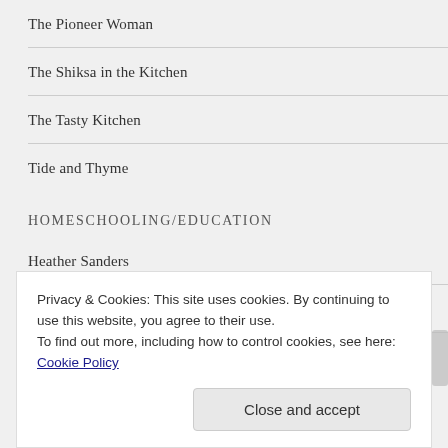The Pioneer Woman
The Shiksa in the Kitchen
The Tasty Kitchen
Tide and Thyme
HOMESCHOOLING/EDUCATION
Heather Sanders
Hip Homeschool Moms
Privacy & Cookies: This site uses cookies. By continuing to use this website, you agree to their use.
To find out more, including how to control cookies, see here: Cookie Policy